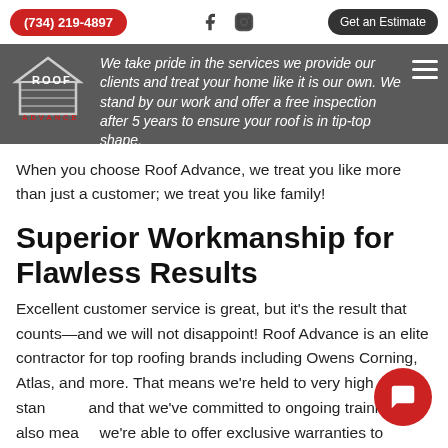(734) 219-4897 | Get an Estimate
[Figure (logo): Roof Advance logo with house/roof icon and text ROOF ADVANCE]
We take pride in the services we provide our clients and treat your home like it is our own. We stand by our work and offer a free inspection after 5 years to ensure your roof is in tip-top shape.
When you choose Roof Advance, we treat you like more than just a customer; we treat you like family!
Superior Workmanship for Flawless Results
Excellent customer service is great, but it's the result that counts—and we will not disappoint! Roof Advance is an elite contractor for top roofing brands including Owens Corning, Atlas, and more. That means we're held to very high standards and that we've committed to ongoing training. It also means we're able to offer exclusive warranties to protect your